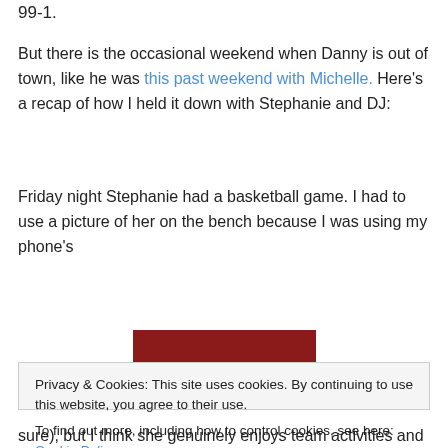99-1.
But there is the occasional weekend when Danny is out of town, like he was this past weekend with Michelle. Here's a recap of how I held it down with Stephanie and DJ:
Friday night Stephanie had a basketball game. I had to use a picture of her on the bench because I was using my phone's
[Figure (photo): Photo of people on a basketball bench in front of a dark red wall/backdrop]
Privacy & Cookies: This site uses cookies. By continuing to use this website, you agree to their use.
To find out more, including how to control cookies, see here: Cookie Policy
Close and accept
sure), but I think she genuinely enjoys team activities and